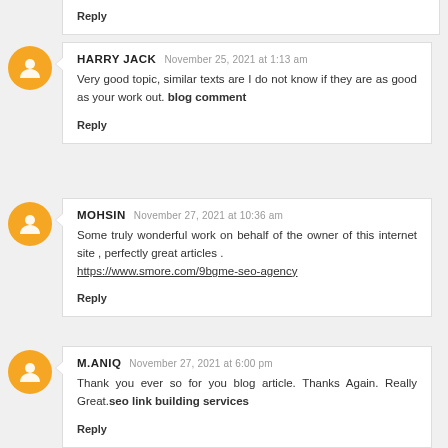Reply
HARRY JACK   NOVEMBER 25, 2021 AT 1:13 AM
Very good topic, similar texts are I do not know if they are as good as your work out. blog comment
Reply
MOHSIN   NOVEMBER 27, 2021 AT 10:36 AM
Some truly wonderful work on behalf of the owner of this internet site , perfectly great articles . https://www.smore.com/9bgme-seo-agency
Reply
M.ANIQ   NOVEMBER 27, 2021 AT 6:00 PM
Thank you ever so for you blog article. Thanks Again. Really Great.seo link building services
Reply